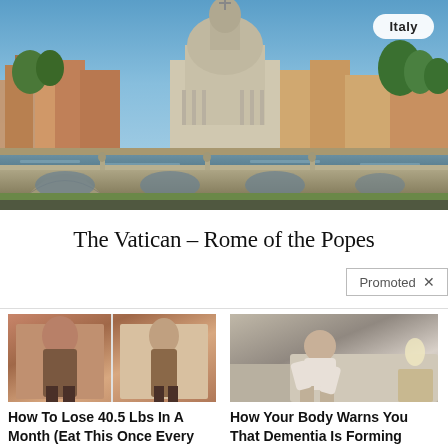[Figure (photo): Aerial view of Rome, Italy, showing the Tiber River, Ponte Sant'Angelo bridge with arches, and St. Peter's Basilica dome in the background with historic Roman buildings]
The Vatican – Rome of the Popes
Promoted ×
[Figure (photo): Before and after weight loss photo showing two women's backs in black bikinis]
How To Lose 40.5 Lbs In A Month (Eat This Once Every Day)
🔥 72,267
[Figure (photo): Elderly person sitting on edge of bed, hunched over, in dimly lit room]
How Your Body Warns You That Dementia Is Forming
🔥 58,777